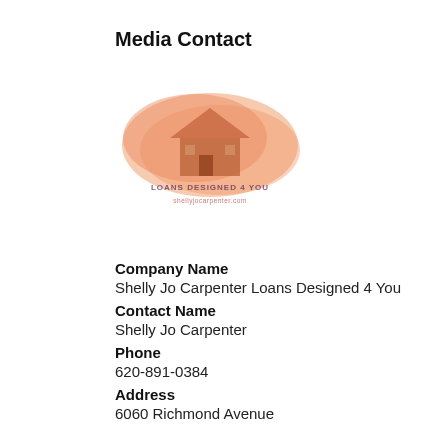Media Contact
[Figure (logo): Loans Designed 4 You company logo — orange brushstroke background with a house silhouette and text 'LOANS DESIGNED 4 YOU' below]
Company Name
Shelly Jo Carpenter Loans Designed 4 You
Contact Name
Shelly Jo Carpenter
Phone
620-891-0384
Address
6060 Richmond Avenue